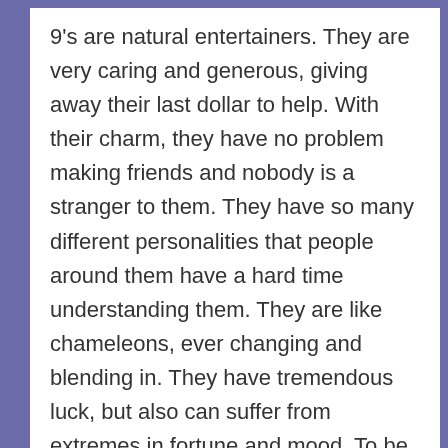9's are natural entertainers. They are very caring and generous, giving away their last dollar to help. With their charm, they have no problem making friends and nobody is a stranger to them. They have so many different personalities that people around them have a hard time understanding them. They are like chameleons, ever changing and blending in. They have tremendous luck, but also can suffer from extremes in fortune and mood. To be successful, they need to build a loving foundation.
Famous 9's: Albert Schweitzer, Shirley McLaine, Harrison Ford, Jimmy Carter, Elvis Presley.